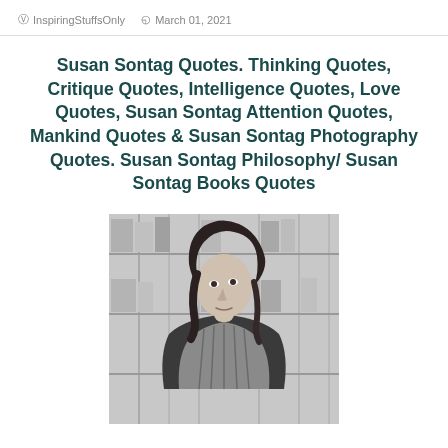InspiringStuffsOnly  March 01, 2021
Susan Sontag Quotes. Thinking Quotes, Critique Quotes, Intelligence Quotes, Love Quotes, Susan Sontag Attention Quotes, Mankind Quotes & Susan Sontag Photography Quotes. Susan Sontag Philosophy/ Susan Sontag Books Quotes
[Figure (photo): Black and white photograph of Susan Sontag, a woman with shoulder-length dark hair, looking upward and to the right, with bookshelves blurred in the background.]